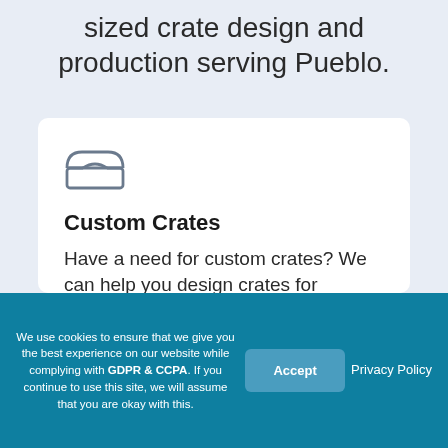sized crate design and production serving Pueblo.
[Figure (illustration): Inbox tray icon in gray outline style]
Custom Crates
Have a need for custom crates? We can help you design crates for storage or shipping that meet the dimensions and
We use cookies to ensure that we give you the best experience on our website while complying with GDPR & CCPA. If you continue to use this site, we will assume that you are okay with this.
Accept
Privacy Policy